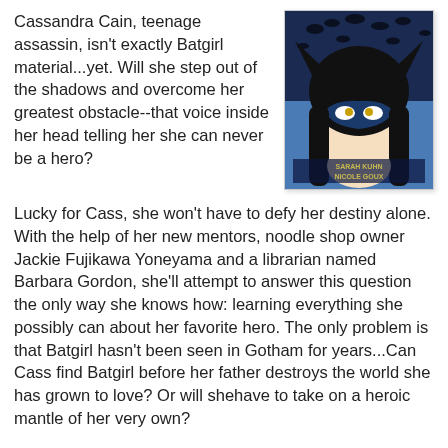Cassandra Cain, teenage assassin, isn't exactly Batgirl material...yet. Will she step out of the shadows and overcome her greatest obstacle--that voice inside her head telling her she can never be a hero?
[Figure (illustration): Book cover of 'Shadow of the Batgirl' showing a stylized illustration of a girl in a Batgirl mask against a blue background with bats. Authors listed: Sarah Kuhn, Nicole Goux.]
Lucky for Cass, she won't have to defy her destiny alone. With the help of her new mentors, noodle shop owner Jackie Fujikawa Yoneyama and a librarian named Barbara Gordon, she'll attempt to answer this question the only way she knows how: learning everything she possibly can about her favorite hero. The only problem is that Batgirl hasn't been seen in Gotham for years...Can Cass find Batgirl before her father destroys the world she has grown to love? Or will shehave to take on a heroic mantle of her very own?
Purchase Shadow of the Batgirl at Amazon
Purchase Shadow of the Batgirl at IndieBound
View Shadow of the Batgirl on Goodreads